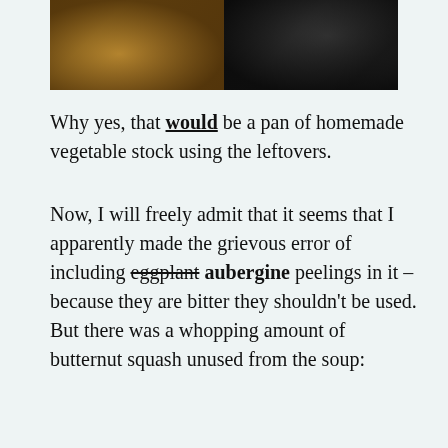[Figure (photo): Two side-by-side photos: left shows a pan with cooking liquid (vegetable stock), right shows a dark stovetop/pan from above]
Why yes, that would be a pan of homemade vegetable stock using the leftovers.
Now, I will freely admit that it seems that I apparently made the grievous error of including eggplant aubergine peelings in it – because they are bitter they shouldn't be used. But there was a whopping amount of butternut squash unused from the soup: